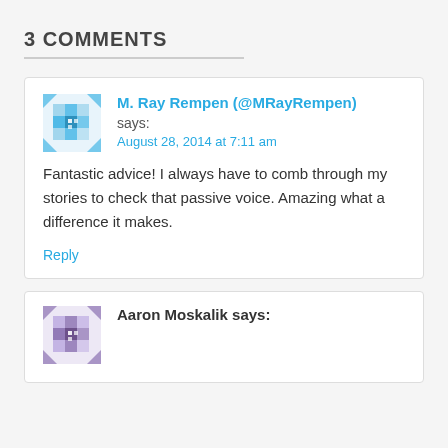3 COMMENTS
M. Ray Rempen (@MRayRempen) says: August 28, 2014 at 7:11 am

Fantastic advice! I always have to comb through my stories to check that passive voice. Amazing what a difference it makes.

Reply
Aaron Moskalik says: